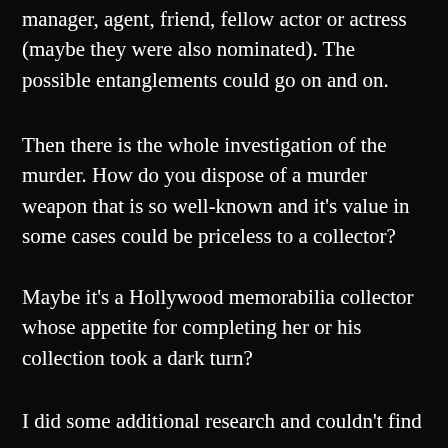manager, agent, friend, fellow actor or actress (maybe they were also nominated). The possible entanglements could go on and on.
Then there is the whole investigation of the murder. How do you dispose of a murder weapon that is so well-known and it’s value in some cases could be priceless to a collector?
Maybe it’s a Hollywood memorabilia collector whose appetite for completing her or his collection took a dark turn?
I did some additional research and couldn’t find a news